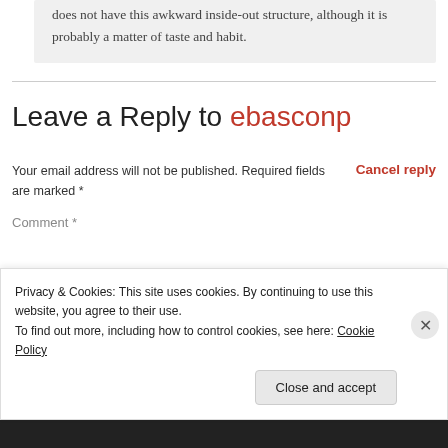does not have this awkward inside-out structure, although it is probably a matter of taste and habit.
Leave a Reply to ebasconp
Cancel reply
Your email address will not be published. Required fields are marked *
Comment *
Privacy & Cookies: This site uses cookies. By continuing to use this website, you agree to their use.
To find out more, including how to control cookies, see here: Cookie Policy
Close and accept